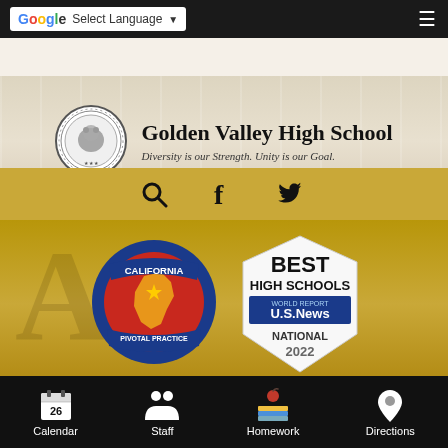Select Language | Golden Valley High School - Diversity is our Strength. Unity is our Goal.
[Figure (logo): Golden Valley High School logo with school name and tagline 'Diversity is our Strength. Unity is our Goal.']
[Figure (logo): California Pivotal Practice award badge and US News Best High Schools National 2022 badge]
Athletic Awards
Golden Valley High School
Calendar | Staff | Homework | Directions